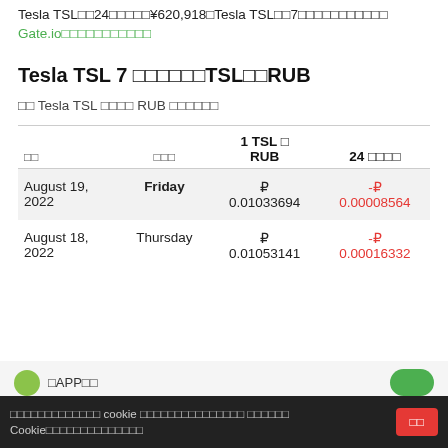Tesla TSL□□24□□□□□¥620,918□Tesla TSL□□7□□□□□□□□□□□
Gate.io□□□□□□□□□□□
Tesla TSL 7 □□□□□□TSL□□RUB
□□ Tesla TSL □□□□ RUB □□□□□□
| □□ | □□□ | 1 TSL □ RUB | 24 □□□□ |
| --- | --- | --- | --- |
| August 19, 2022 | Friday | ₽ 0.01033694 | -₽ 0.00008564 |
| August 18, 2022 | Thursday | ₽ 0.01053141 | -₽ 0.00016332 |
□□□□□□□□□□□□□ cookie □□□□□□□□□□□□□□□ □□□□□□ Cookie□□□□□□□□□□□□□□